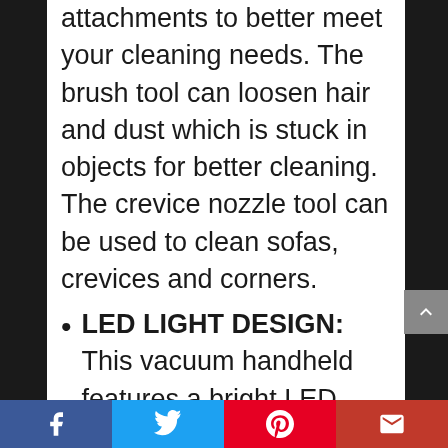attachments to better meet your cleaning needs. The brush tool can loosen hair and dust which is stuck in objects for better cleaning. The crevice nozzle tool can be used to clean sofas, crevices and corners.
LED LIGHT DESIGN: This vacuum handheld features a bright LED Light which is helpful for the dark cleaning and corner cleaning. Turn on the LED light to light up the place you need to clean, making the cleaning work easier. This portable vacuum cleaner for home is great for your family.